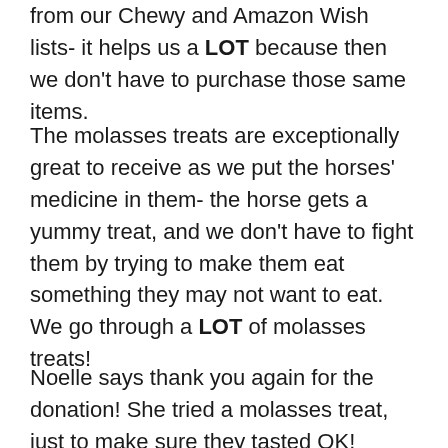from our Chewy and Amazon Wish lists- it helps us a LOT because then we don't have to purchase those same items.
The molasses treats are exceptionally great to receive as we put the horses' medicine in them- the horse gets a yummy treat, and we don't have to fight them by trying to make them eat something they may not want to eat. We go through a LOT of molasses treats!
Noelle says thank you again for the donation! She tried a molasses treat, just to make sure they tasted OK!